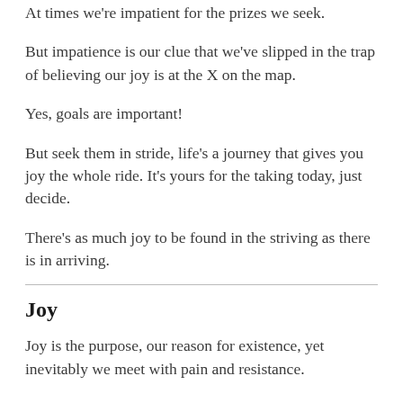At times we're impatient for the prizes we seek.
But impatience is our clue that we've slipped in the trap of believing our joy is at the X on the map.
Yes, goals are important!
But seek them in stride, life's a journey that gives you joy the whole ride. It's yours for the taking today, just decide.
There's as much joy to be found in the striving as there is in arriving.
Joy
Joy is the purpose, our reason for existence, yet inevitably we meet with pain and resistance.